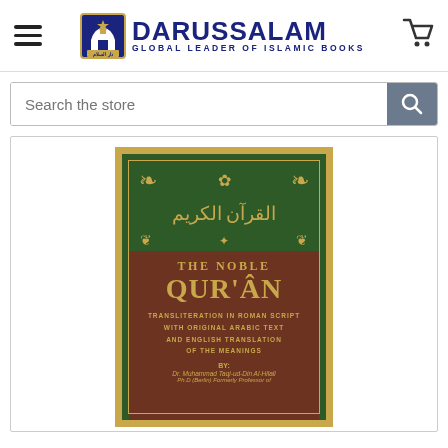DARUSSALAM — GLOBAL LEADER OF ISLAMIC BOOKS
[Figure (screenshot): Search bar with placeholder text 'Search the store' and a search button]
[Figure (photo): Book cover of The Noble Qur'an — Transliteration in Roman Script with Original Arabic Text and English Translation of the Meanings, by Dr. Muhammad Taqi-ud-Din Al-Hilali, Ph.D (Berlin). Published by Darussalam. Green cover with gold border and brown title band.]